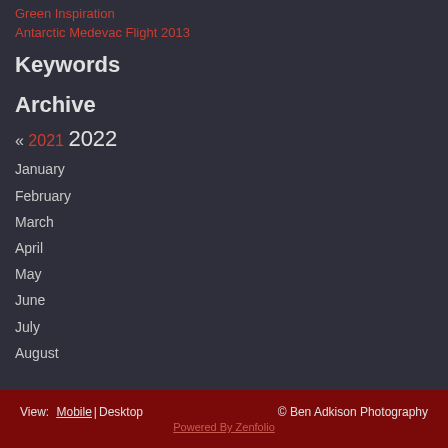Green Inspiration
Antarctic Medevac Flight 2013
Keywords
Archive
« 2021  2022
January
February
March
April
May
June
July
August
View: Mobile | Desktop  © Ben Adkison Photography  Powered By Zenfolio